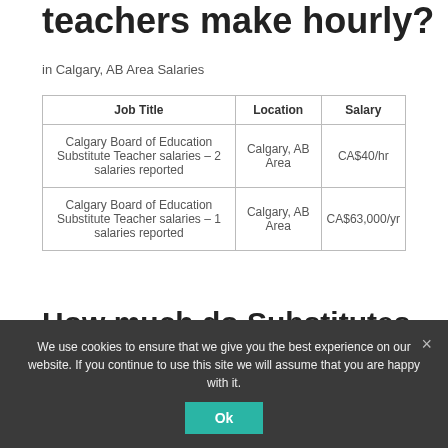teachers make hourly?
in Calgary, AB Area Salaries
| Job Title | Location | Salary |
| --- | --- | --- |
| Calgary Board of Education Substitute Teacher salaries – 2 salaries reported | Calgary, AB Area | CA$40/hr |
| Calgary Board of Education Substitute Teacher salaries – 1 salaries reported | Calgary, AB Area | CA$63,000/yr |
How much do Substitutes get
We use cookies to ensure that we give you the best experience on our website. If you continue to use this site we will assume that you are happy with it.